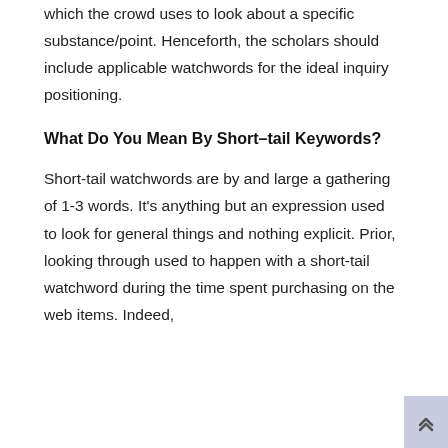which the crowd uses to look about a specific substance/point. Henceforth, the scholars should include applicable watchwords for the ideal inquiry positioning.
What Do You Mean By Short–tail Keywords?
Short-tail watchwords are by and large a gathering of 1-3 words. It's anything but an expression used to look for general things and nothing explicit. Prior, looking through used to happen with a short-tail watchword during the time spent purchasing on the web items. Indeed,